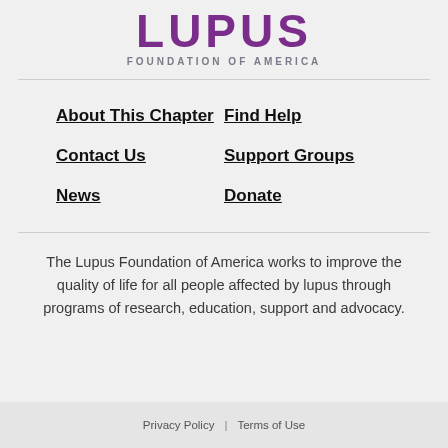[Figure (logo): Lupus Foundation of America logo — bold purple LUPUS wordmark above 'FOUNDATION OF AMERICA' in gray spaced caps]
About This Chapter
Find Help
Contact Us
Support Groups
News
Donate
The Lupus Foundation of America works to improve the quality of life for all people affected by lupus through programs of research, education, support and advocacy.
Privacy Policy  |  Terms of Use